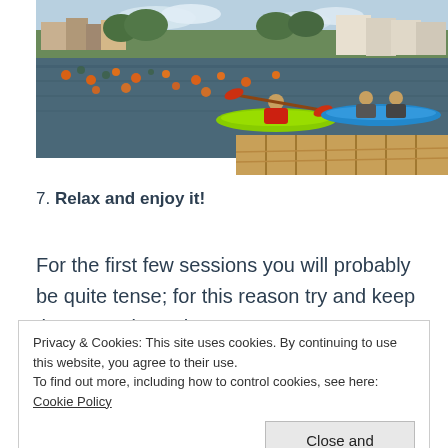[Figure (photo): Open water swimming event on a river with kayakers and many swimmers with orange tow floats. Buildings and trees are visible on the far bank under a partly cloudy sky. A wooden dock is visible in the foreground right.]
7. Relax and enjoy it!
For the first few sessions you will probably be quite tense; for this reason try and keep these sessions short
Privacy & Cookies: This site uses cookies. By continuing to use this website, you agree to their use.
To find out more, including how to control cookies, see here: Cookie Policy
[Close and accept]